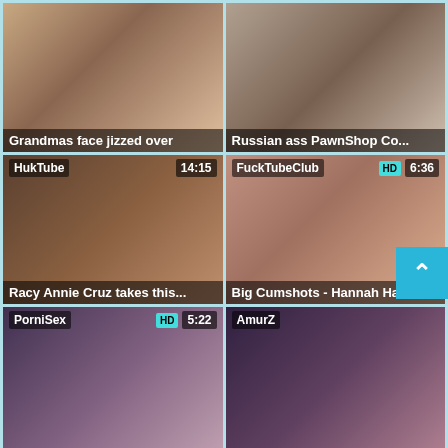[Figure (screenshot): Video thumbnail grid showing 6 adult video thumbnails with site names, durations, and titles]
Grandmas face jizzed over
Russian ass PawnShop Co...
Racy Annie Cruz takes this...
Big Cumshots - Hannah Ha...
PorniSex (HD) 5:22
AmurZ